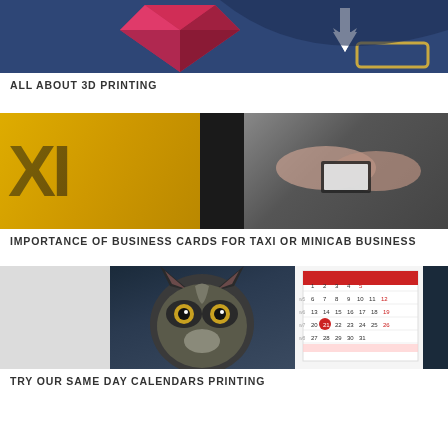[Figure (illustration): 3D printing infographic banner with dark blue background, pink/red 3D shape on left, arrow pointing down on right, and a gold-outlined rectangle at bottom right corner]
ALL ABOUT 3D PRINTING
[Figure (photo): Composite photo showing a yellow taxi sign on left and two hands exchanging business cards on right, dark/black background in center]
IMPORTANCE OF BUSINESS CARDS FOR TAXI OR MINICAB BUSINESS
[Figure (photo): Composite photo showing a wolf face illustration on left and a wall calendar showing a month with dates on right, against a light grey background]
TRY OUR SAME DAY CALENDARS PRINTING